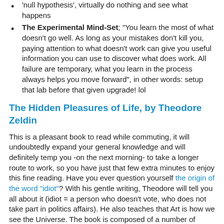'null hypothesis', virtually do nothing and see what happens
The Experimental Mind-Set; "You learn the most of what doesn't go well. As long as your mistakes don't kill you, paying attention to what doesn't work can give you useful information you can use to discover what does work. All failure are temporary, what you learn in the process always helps you move forward", in other words: setup that lab before that given upgrade! lol
The Hidden Pleasures of Life, by Theodore Zeldin
This is a pleasant book to read while commuting, it will undoubtedly expand your general knowledge and will definitely temp you -on the next morning- to take a longer route to work, so you have just that few extra minutes to enjoy this fine reading. Have you ever question yourself the origin of the word "idiot"? With his gentle writing, Theodore will tell you all about it (idiot = a person who doesn't vote, who does not take part in politics affairs). He also teaches that Art is how we see the Universe. The book is composed of a number of chapters each mapping